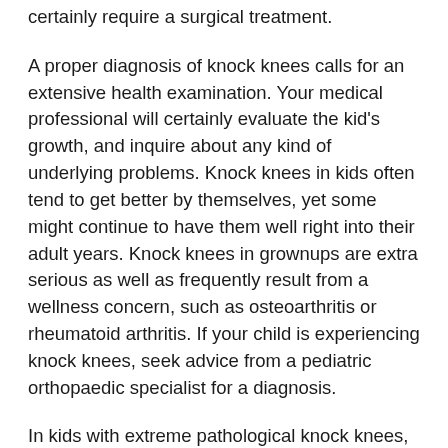certainly require a surgical treatment.
A proper diagnosis of knock knees calls for an extensive health examination. Your medical professional will certainly evaluate the kid's growth, and inquire about any kind of underlying problems. Knock knees in kids often tend to get better by themselves, yet some might continue to have them well right into their adult years. Knock knees in grownups are extra serious as well as frequently result from a wellness concern, such as osteoarthritis or rheumatoid arthritis. If your child is experiencing knock knees, seek advice from a pediatric orthopaedic specialist for a diagnosis.
In kids with extreme pathological knock knees, an orthopaedic surgeon might suggest surgical treatment. Hemiepiphysiodesis involves the stapling of the inside part of the knee, and might be advised if your youngster has consistent discomfort. If the knock knee has worn away to the point where you can not